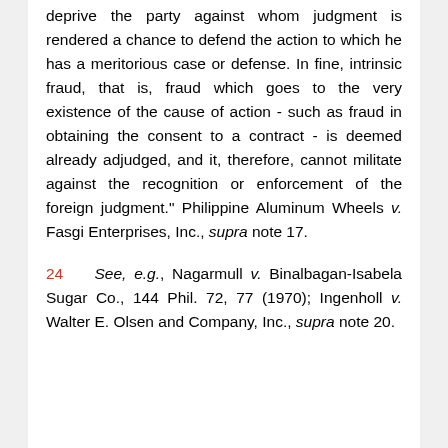deprive the party against whom judgment is rendered a chance to defend the action to which he has a meritorious case or defense. In fine, intrinsic fraud, that is, fraud which goes to the very existence of the cause of action - such as fraud in obtaining the consent to a contract - is deemed already adjudged, and it, therefore, cannot militate against the recognition or enforcement of the foreign judgment." Philippine Aluminum Wheels v. Fasgi Enterprises, Inc., supra note 17.
24   See, e.g., Nagarmull v. Binalbagan-Isabela Sugar Co., 144 Phil. 72, 77 (1970); Ingenholl v. Walter E. Olsen and Company, Inc., supra note 20.